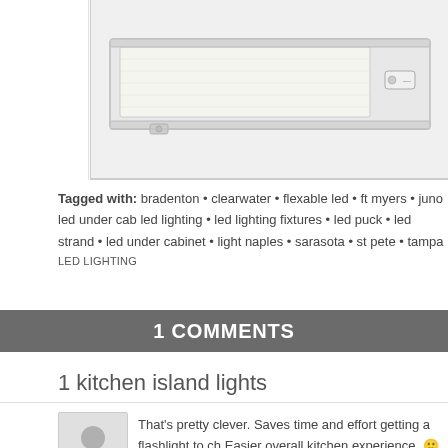[Figure (photo): Under-cabinet LED lighting fixture, white rectangular unit with frosted glass panel and toggle switch, shown from below at an angle against white background]
Tagged with: bradenton • clearwater • flexable led • ft myers • juno led under cab led lighting • led lighting fixtures • led puck • led strand • led under cabinet • light naples • sarasota • st pete • tampa
LED LIGHTING
1 COMMENTS
1 kitchen island lights
[Figure (illustration): Generic user avatar placeholder - grey silhouette of a person]
That's pretty clever. Saves time and effort getting a flashlight to ch Easier overall kitchen experience. 🙂